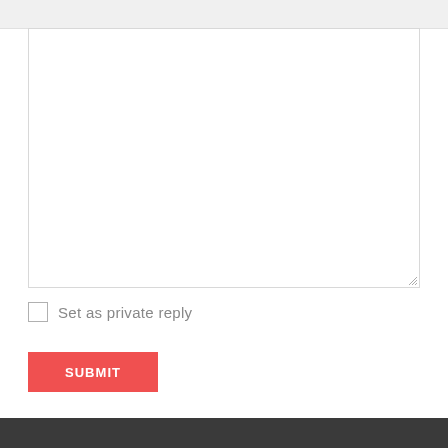[Figure (screenshot): A web form UI partial screenshot showing a large empty textarea input with a resize handle at bottom-right, a checkbox labeled 'Set as private reply', and a red SUBMIT button. Below is a dark footer bar.]
Set as private reply
SUBMIT